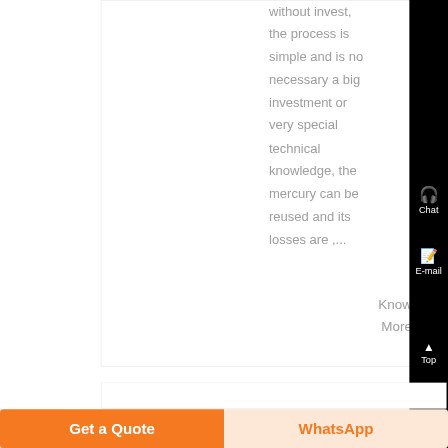the process is simple and is no necessary a big investment or very special technical knowledge, the mercury can be reused and its losses are ,...
Know More
Chat
E-mail
Top
Get a Quote
WhatsApp